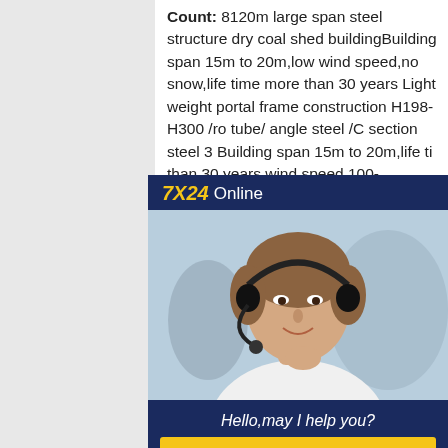Count: 8120m large span steel structure dry coal shed buildingBuilding span 15m to 20m,low wind speed,no snow,life time more than 30 years Light weight portal frame construction H198-H300 /ro tube/ angle steel /C section steel 3 Building span 15m to 20m,life ti than 30 years,wind speed 100-200km/h,snow load 0.5KN/ to 1.0 Heavier portal frame construction
[Figure (photo): 7X24 Online customer service chat widget showing a woman wearing a headset with text 'Hello,may I help you?' and a 'Get Latest Price' button]
Span Steel Structure Building WarehouseSpecification Item Na structure warehouse Column an Hot rooled H section ,I section or Galvanized Purlin C-Section and Z-section Size Length,Width,Roof height and Eave Height
A283 Grade C H profile steel weight